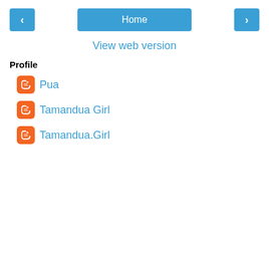< Home >
View web version
Profile
Pua
Tamandua Girl
Tamandua.Girl